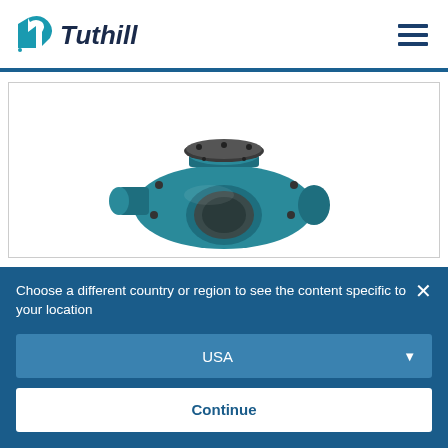[Figure (logo): Tuthill company logo with teal geometric icon and bold italic text]
[Figure (photo): Industrial teal/blue rotary pump or compressor unit photographed on white background]
Choose a different country or region to see the content specific to your location
USA
Continue